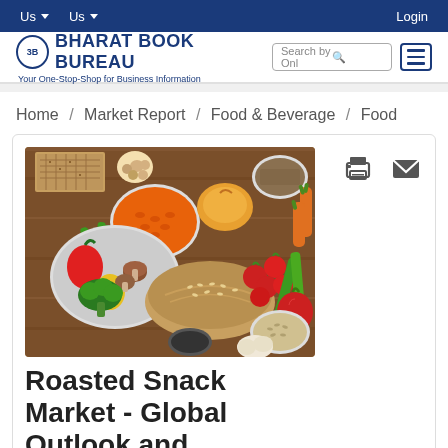Us   Us   Login
[Figure (logo): Bharat Book Bureau logo with tagline: Your One-Stop-Shop for Business Information]
Home / Market Report / Food & Beverage / Food
[Figure (photo): Overhead photo of various foods: grains, vegetables, bread, mushrooms, tomatoes, broccoli, carrots, spices in bowls on a wooden surface]
Roasted Snack Market - Global Outlook and